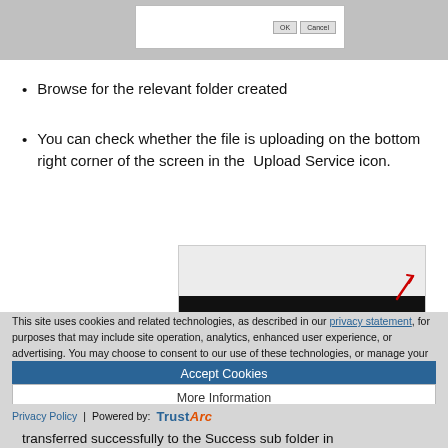[Figure (screenshot): Top portion of a file browser or dialog window with buttons]
Browse for the relevant folder created
You can check whether the file is uploading on the bottom right corner of the screen in the Upload Service icon.
[Figure (screenshot): Screenshot showing a light gray area above a black taskbar with a red upload service icon in the bottom right corner]
This site uses cookies and related technologies, as described in our privacy statement, for purposes that may include site operation, analytics, enhanced user experience, or advertising. You may choose to consent to our use of these technologies, or manage your own preferences.
Accept Cookies
More Information
Privacy Policy | Powered by: TrustArc
transferred successfully to the Success sub folder in